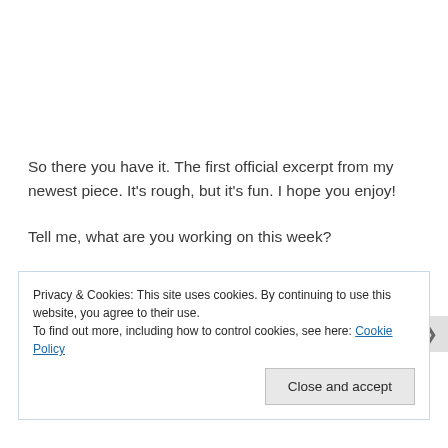So there you have it. The first official excerpt from my newest piece. It's rough, but it's fun. I hope you enjoy!
Tell me, what are you working on this week?
Privacy & Cookies: This site uses cookies. By continuing to use this website, you agree to their use.
To find out more, including how to control cookies, see here: Cookie Policy